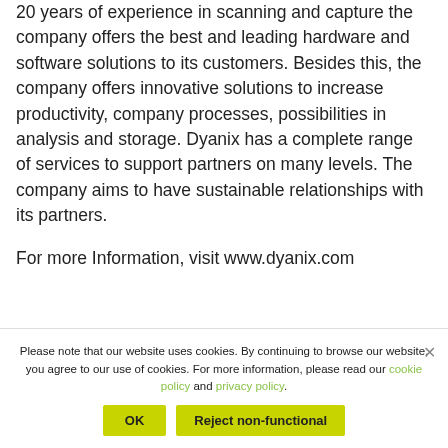20 years of experience in scanning and capture the company offers the best and leading hardware and software solutions to its customers. Besides this, the company offers innovative solutions to increase productivity, company processes, possibilities in analysis and storage. Dyanix has a complete range of services to support partners on many levels. The company aims to have sustainable relationships with its partners.
For more Information, visit www.dyanix.com
Please note that our website uses cookies. By continuing to browse our website, you agree to our use of cookies. For more information, please read our cookie policy and privacy policy.